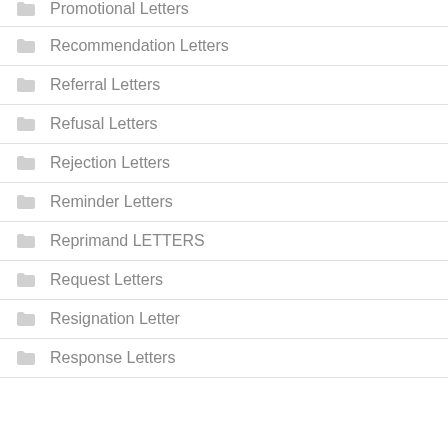Promotional Letters
Recommendation Letters
Referral Letters
Refusal Letters
Rejection Letters
Reminder Letters
Reprimand LETTERS
Request Letters
Resignation Letter
Response Letters